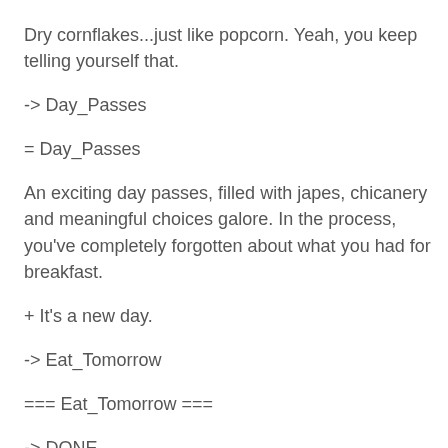Dry cornflakes...just like popcorn. Yeah, you keep telling yourself that.
-> Day_Passes
= Day_Passes
An exciting day passes, filled with japes, chicanery and meaningful choices galore. In the process, you've completely forgotten about what you had for breakfast.
+ It's a new day.
-> Eat_Tomorrow
=== Eat_Tomorrow ===
-> DONE
That last section, Day_Passes, is there to help us